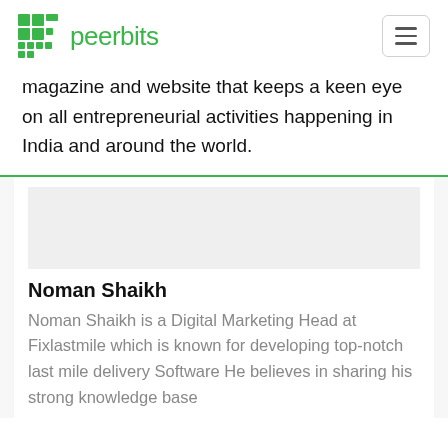peerbits
magazine and website that keeps a keen eye on all entrepreneurial activities happening in India and around the world.
Noman Shaikh
Noman Shaikh is a Digital Marketing Head at Fixlastmile which is known for developing top-notch last mile delivery Software He believes in sharing his strong knowledge base